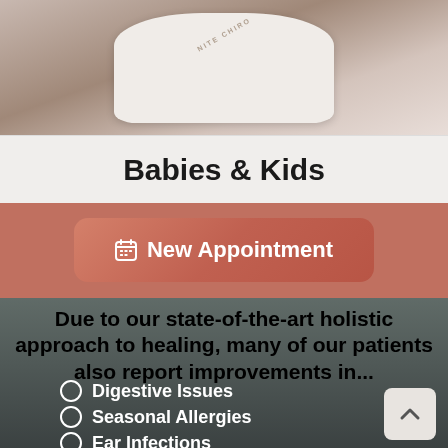[Figure (photo): Person wearing a white chiropractic clinic shirt, photo cropped showing torso/shirt area]
Babies & Kids
[Figure (other): Button for New Appointment with calendar icon, salmon/terracotta colored rounded rectangle button]
Due to our state-of-the-art holistic approach to healing, many of our patients also report improvements in...
Digestive Issues
Seasonal Allergies
Ear Infections